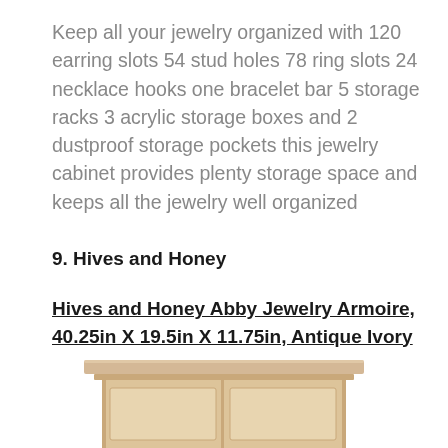Keep all your jewelry organized with 120 earring slots 54 stud holes 78 ring slots 24 necklace hooks one bracelet bar 5 storage racks 3 acrylic storage boxes and 2 dustproof storage pockets this jewelry cabinet provides plenty storage space and keeps all the jewelry well organized
9. Hives and Honey
Hives and Honey Abby Jewelry Armoire, 40.25in X 19.5in X 11.75in, Antique Ivory
[Figure (photo): Bottom portion of an antique ivory jewelry armoire cabinet showing the top with molding detail and upper portion of the cabinet body.]